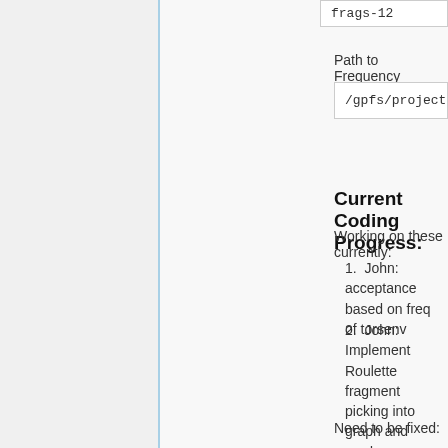frags-12
Path to Frequency Anchors:
/gpfs/projects/rizzo/leprentis/
Current Coding Progress:
Working on these currently:
John: acceptance based on freq of torsenv
John: Implement Roulette fragment picking into graph and random as an option
Need to be fixed: